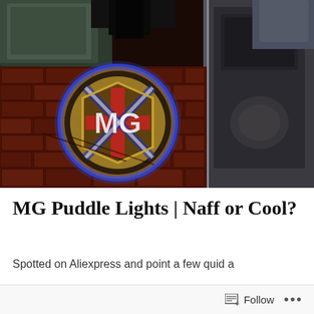[Figure (photo): Photo of an MG logo puddle light projected onto brick paving between a car door and car body. The circular projection shows the MG badge with Union Jack design on dark brick flooring. Car interior seat visible top left, car door frame visible on right.]
MG Puddle Lights | Naff or Cool?
Spotted on Aliexpress and point a few quid a